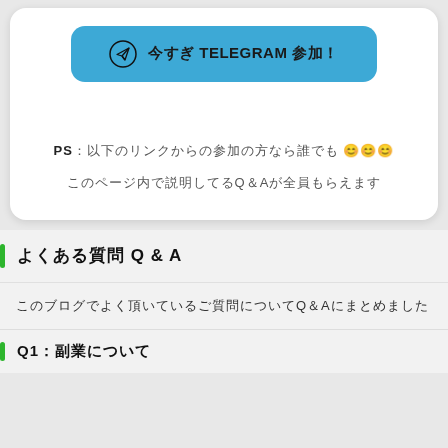[Figure (other): Blue Telegram button with paper plane icon and bold text: 今すぐ TELEGRAM 参加!]
PS：以下のリンクからの参加の方なら誰でも 😊😊😊
このページ内で説明してるQ＆Aが全員もらえます
よくある質問 Q & A
このブログでよく頂いているご質問についてQ＆Aにまとめました
Q1：副業について